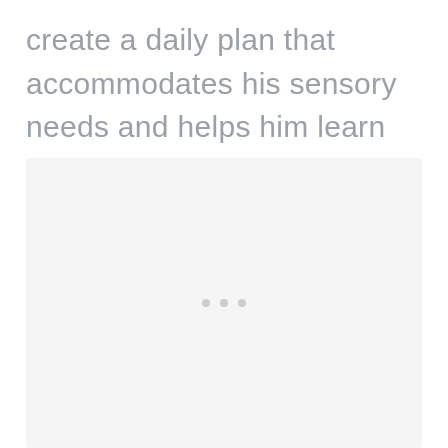create a daily plan that accommodates his sensory needs and helps him learn coping mechanisms.
[Figure (other): A light gray placeholder image box with three small dots in the center, indicating a loading or empty image area.]